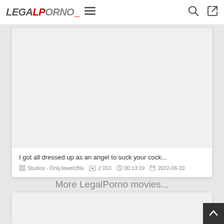LegalPorno navigation bar with logo, hamburger menu, search and login icons
[Figure (screenshot): Blank white video thumbnail card]
I got all dressed up as an angel to suck your cock...
Studios - OnlyJewelzBlu  2 010  00:13:19  2022-08-10
More LegalPorno movies...
[Figure (screenshot): Blank white video thumbnail card (second)]